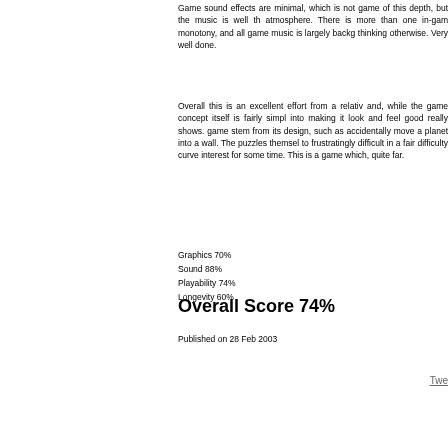Game sound effects are minimal, which is not what you'd expect from a game of this depth, but the music is well themed and creates a great atmosphere. There is more than one in-game track to prevent musical monotony, and all game music is largely background so you won't find thinking otherwise. Very well done.
Overall this is an excellent effort from a relatively small developer and, while the game concept itself is fairly simple, the work that went into making it look and feel good really shows. The main annoyances in the game stem from its design, such as accidentally clicking the wrong way to move a planet into a wall. The puzzles themselves range from easy to frustratingly difficult in a fair difficulty curve and should hold your interest for some time. This is a game which, if you enjoy puzzles, goes quite far.
Graphics 70%
Sound 88%
Playability 74%
Longevity 60%
Overall Score 74%
Published on 28 Feb 2003
Twe